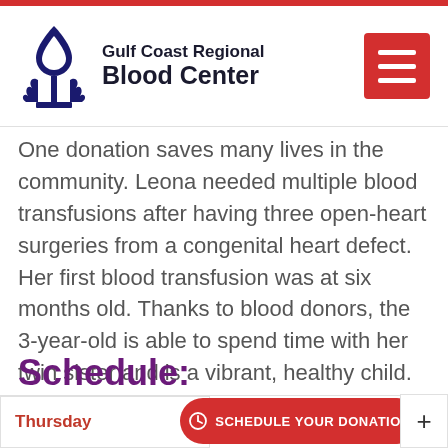[Figure (logo): Gulf Coast Regional Blood Center logo with stylized flame/drop and wheat icon in dark navy blue, with organization name in bold black text]
One donation saves many lives in the community. Leona needed multiple blood transfusions after having three open-heart surgeries from a congenital heart defect. Her first blood transfusion was at six months old. Thanks to blood donors, the 3-year-old is able to spend time with her twin sister and is a vibrant, healthy child.
Schedule:
Thursday